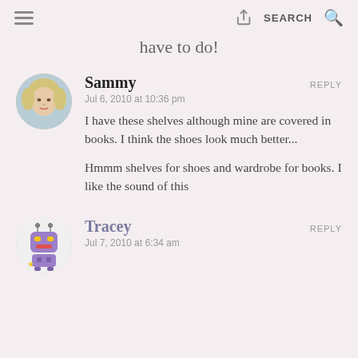have to do!
Sammy
Jul 6, 2010 at 10:36 pm
I have these shelves although mine are covered in books. I think the shoes look much better...
Hmmm shelves for shoes and wardrobe for books. I like the sound of this
Tracey
Jul 7, 2010 at 6:34 am